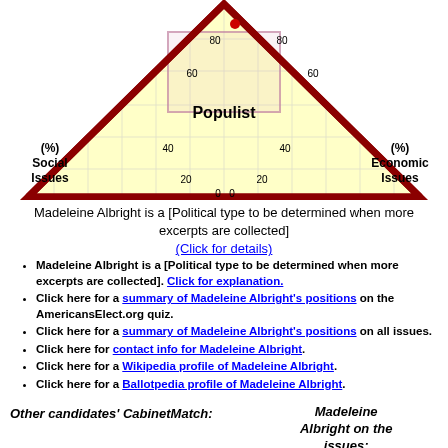[Figure (radar-chart): Political compass diamond chart showing Populist label in center, with axes for Social Issues (%) on left and Economic Issues (%) on right. Scale markings at 20, 40, 60, 80. A red dot appears near the top center. Heavy dark red border forms a diamond/square rotated 45 degrees. A pink/mauve inner rectangle is overlaid.]
Madeleine Albright is a [Political type to be determined when more excerpts are collected]
(Click for details)
Madeleine Albright is a [Political type to be determined when more excerpts are collected]. Click for explanation.
Click here for a summary of Madeleine Albright's positions on the AmericansElect.org quiz.
Click here for a summary of Madeleine Albright's positions on all issues.
Click here for contact info for Madeleine Albright.
Click here for a Wikipedia profile of Madeleine Albright.
Click here for a Ballotpedia profile of Madeleine Albright.
Other candidates' CabinetMatch:
Madeleine Albright on the issues: